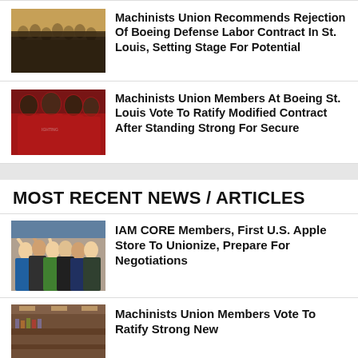[Figure (photo): Group of workers/machinists gathered indoors, appears to be a union meeting]
Machinists Union Recommends Rejection Of Boeing Defense Labor Contract In St. Louis, Setting Stage For Potential
[Figure (photo): Workers in red shirts at a union meeting, one shirt reads FIGHTING]
Machinists Union Members At Boeing St. Louis Vote To Ratify Modified Contract After Standing Strong For Secure
MOST RECENT NEWS / ARTICLES
[Figure (photo): Group of people celebrating, raising hands, IAM CORE members at Apple Store]
IAM CORE Members, First U.S. Apple Store To Unionize, Prepare For Negotiations
[Figure (photo): Interior of what appears to be a restaurant or store, machinists union members]
Machinists Union Members Vote To Ratify Strong New